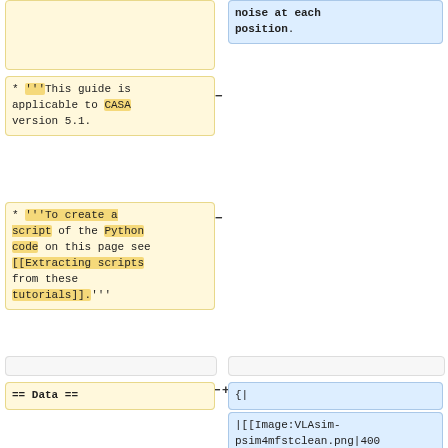(empty yellow block top-left)
noise at each position.
* '''This guide is applicable to CASA version 5.1.
* '''To create a script of the Python code on this page see [[Extracting scripts from these tutorials]].'''
(empty spacer boxes)
== Data ==
{|
|[[Image:VLAsim-psim4mfstclean.png|400px|thumb|left|'''Fig. 11:''' The image of Fig. 9 but using